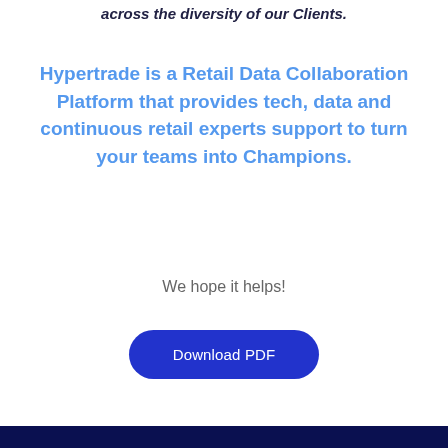across the diversity of our Clients.
Hypertrade is a Retail Data Collaboration Platform that provides tech, data and continuous retail experts support to turn your teams into Champions.
We hope it helps!
[Figure (other): Download PDF button — a rounded blue pill-shaped button with white text reading 'Download PDF']